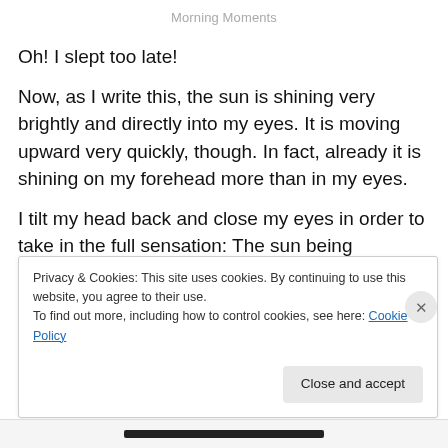Morning Moments
Oh! I slept too late!
Now, as I write this, the sun is shining very brightly and directly into my eyes. It is moving upward very quickly, though. In fact, already it is shining on my forehead more than in my eyes.
I tilt my head back and close my eyes in order to take in the full sensation: The sun being absorbed through my eyelids and skin, breathed into my lungs, bonded with my
Privacy & Cookies: This site uses cookies. By continuing to use this website, you agree to their use.
To find out more, including how to control cookies, see here: Cookie Policy